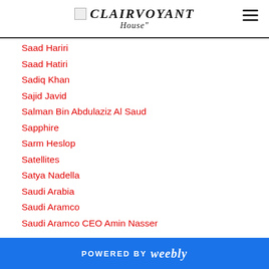CLAIRVOYANT
Saad Hariri
Saad Hatiri
Sadiq Khan
Sajid Javid
Salman Bin Abdulaziz Al Saud
Sapphire
Sarm Heslop
Satellites
Satya Nadella
Saudi Arabia
Saudi Aramco
Saudi Aramco CEO Amin Nasser
Saudi Consulate
Scandals
POWERED BY weebly